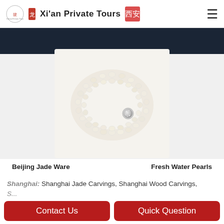Xi'an Private Tours
[Figure (photo): Photo of a white freshwater pearl bracelet with multiple strands and a silver magnetic clasp, shown on a light background. Above it is a dark navy strip partially visible at the top of the image area.]
Beijing Jade Ware    Fresh Water Pearls
Shanghai: Shanghai Jade Carvings, Shanghai Wood Carvings,
Contact Us
Quick Question